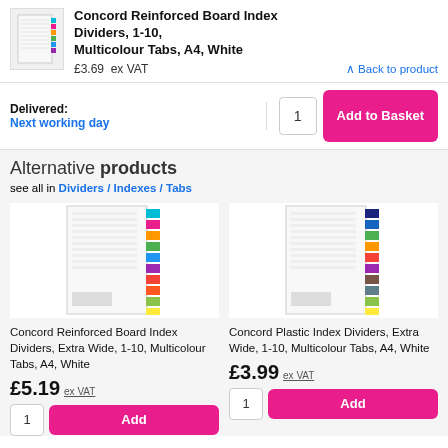Concord Reinforced Board Index Dividers, 1-10, Multicolour Tabs, A4, White
£3.69 ex VAT
Back to product
Delivered: Next working day
Alternative products
see all in Dividers / Indexes / Tabs
Concord Reinforced Board Index Dividers, Extra Wide, 1-10, Multicolour Tabs, A4, White
£5.19 ex VAT
Concord Plastic Index Dividers, Extra Wide, 1-10, Multicolour Tabs, A4, White
£3.99 ex VAT